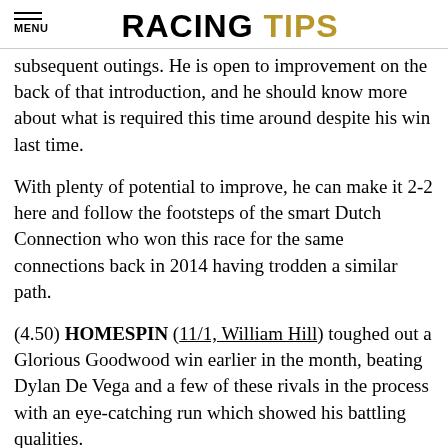RACING TIPS
subsequent outings. He is open to improvement on the back of that introduction, and he should know more about what is required this time around despite his win last time.
With plenty of potential to improve, he can make it 2-2 here and follow the footsteps of the smart Dutch Connection who won this race for the same connections back in 2014 having trodden a similar path.
(4.50) HOMESPIN (11/1, William Hill) toughed out a Glorious Goodwood win earlier in the month, beating Dylan De Vega and a few of these rivals in the process with an eye-catching run which showed his battling qualities.
The Speightstown colt had also won at Windsor the time before, and Mark Johnston's charge looks to hold solid claims of landing the hat-trick with the potential for better still to come from him.
He was always in the firing line at the Sussex track, taking the field along early and always racing prominently before being sent